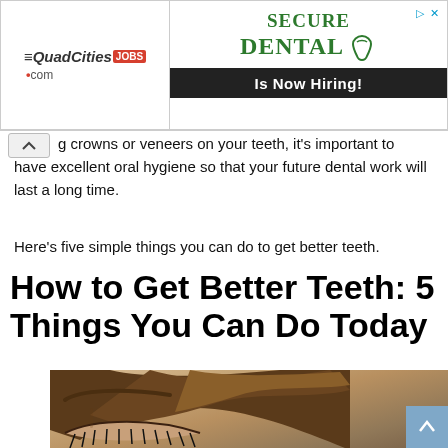[Figure (screenshot): Advertisement banner: QuadCitiesJOBS.com logo on the left, Secure Dental Is Now Hiring! ad on the right]
g crowns or veneers on your teeth, it's important to have excellent oral hygiene so that your future dental work will last a long time.
Here's five simple things you can do to get better teeth.
How to Get Better Teeth: 5 Things You Can Do Today
[Figure (photo): Close-up photo of a woman's face, eyes partially closed with visible eyelashes and eyebrows, brown hair]